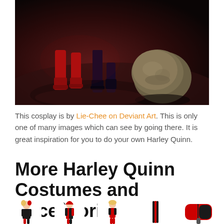[Figure (photo): Cosplay photo showing legs of costumed person in red boots and black shoes next to a large round object, dark dramatic lighting]
This cosplay is by Lie-Chee on Deviant Art. This is only one of many images which can see by going there. It is great inspiration for you to do your own Harley Quinn.
More Harley Quinn Costumes and Accessories
[Figure (photo): Row of small product/cosplay thumbnail images showing Harley Quinn costumes and accessories]